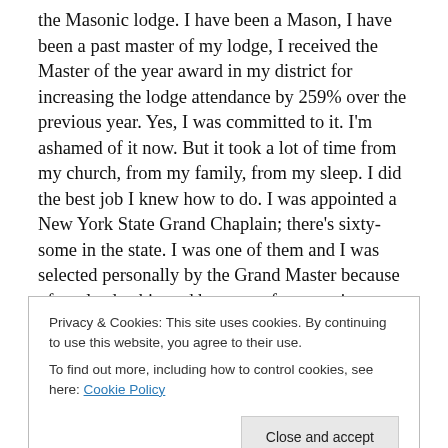the Masonic lodge. I have been a Mason, I have been a past master of my lodge, I received the Master of the year award in my district for increasing the lodge attendance by 259% over the previous year. Yes, I was committed to it. I'm ashamed of it now. But it took a lot of time from my church, from my family, from my sleep. I did the best job I knew how to do. I was appointed a New York State Grand Chaplain; there's sixty-some in the state. I was one of them and I was selected personally by the Grand Master because of my leadership and because of my service. Normally it goes thru a district committee where Right
Privacy & Cookies: This site uses cookies. By continuing to use this website, you agree to their use.
To find out more, including how to control cookies, see here: Cookie Policy
[Close and accept]
since I wouldn't come out of Masonry, was, then I'll put you